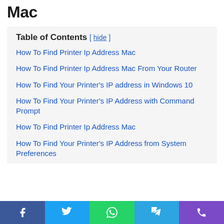Mac
Table of Contents [ hide ]
How To Find Printer Ip Address Mac
How To Find Printer Ip Address Mac From Your Router
How To Find Your Printer's IP address in Windows 10
How To Find Your Printer's IP Address with Command Prompt
How To Find Printer Ip Address Mac
How To Find Your Printer's IP Address from System Preferences